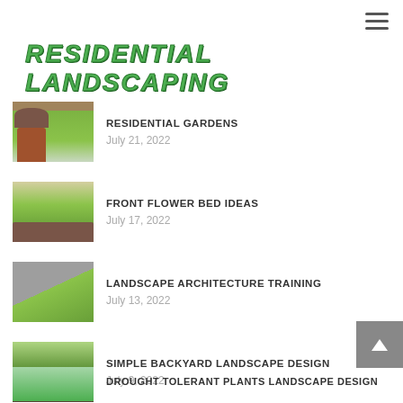RESIDENTIAL LANDSCAPING
RESIDENTIAL GARDENS
July 21, 2022
FRONT FLOWER BED IDEAS
July 17, 2022
LANDSCAPE ARCHITECTURE TRAINING
July 13, 2022
SIMPLE BACKYARD LANDSCAPE DESIGN
July 9, 2022
DROUGHT TOLERANT PLANTS LANDSCAPE DESIGN